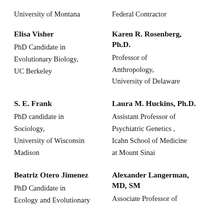University of Montana
Federal Contractor
Elisa Visher
PhD Candidate in Evolutionary Biology, UC Berkeley
Karen R. Rosenberg, Ph.D.
Professor of Anthropology, University of Delaware
S. E. Frank
PhD candidate in Sociology, University of Wisconsin Madison
Laura M. Huckins, Ph.D.
Assistant Professor of Psychiatric Genetics , Icahn School of Medicine at Mount Sinai
Beatriz Otero Jimenez
PhD Candidate in Ecology and Evolutionary
Alexander Langerman, MD, SM
Associate Professor of